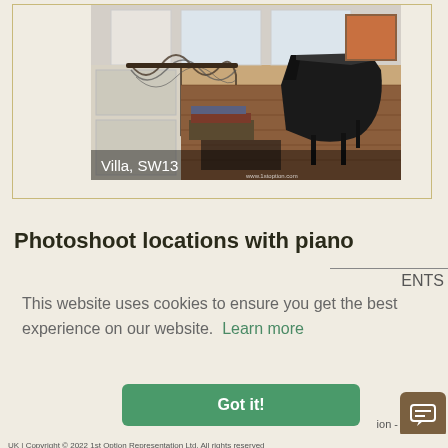[Figure (photo): Interior of a villa showing a grand piano on a parquet herringbone floor, with decorative wrought iron staircase railing and tall windows. Text overlay reads 'Villa, SW13' and watermark 'www.1stoption.com']
Villa, SW13
Photoshoot locations with piano
This website uses cookies to ensure you get the best experience on our website.  Learn more
Got it!
ENTS
UK | Copyright © 2022 1st Option Representation Ltd, All rights reserved